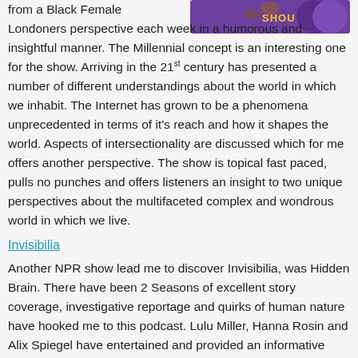[Figure (photo): Purple background image with partial text 'SHOU' visible, appears to be a podcast or show cover art thumbnail]
from a Black Female Londoners perspective each week in a humorous and insightful manner. The Millennial concept is an interesting one for the show. Arriving in the 21st century has presented a number of different understandings about the world in which we inhabit. The Internet has grown to be a phenomena unprecedented in terms of it's reach and how it shapes the world. Aspects of intersectionality are discussed which for me offers another perspective. The show is topical fast paced, pulls no punches and offers listeners an insight to two unique perspectives about the multifaceted complex and wondrous world in which we live.
Invisibilia
Another NPR show lead me to discover Invisibilia, was Hidden Brain. There have been 2 Seasons of excellent story coverage, investigative reportage and quirks of human nature have hooked me to this podcast. Lulu Miller, Hanna Rosin and Alix Spiegel have entertained and provided an informative format to see behind the